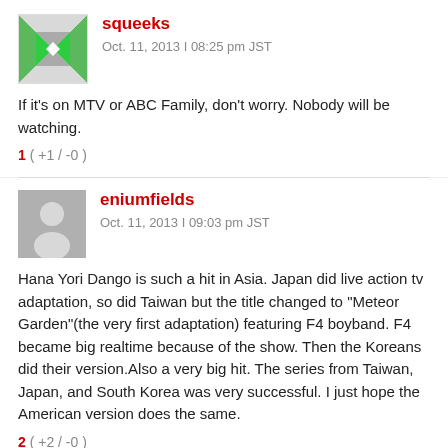squeeks
Oct. 11, 2013 | 08:25 pm JST
If it's on MTV or ABC Family, don't worry. Nobody will be watching.
1 ( +1 / -0 )
eniumfields
Oct. 11, 2013 | 09:03 pm JST
Hana Yori Dango is such a hit in Asia. Japan did live action tv adaptation, so did Taiwan but the title changed to "Meteor Garden"(the very first adaptation) featuring F4 boyband. F4 became big realtime because of the show. Then the Koreans did their version.Also a very big hit. The series from Taiwan, Japan, and South Korea was very successful. I just hope the American version does the same.
2 ( +2 / -0 )